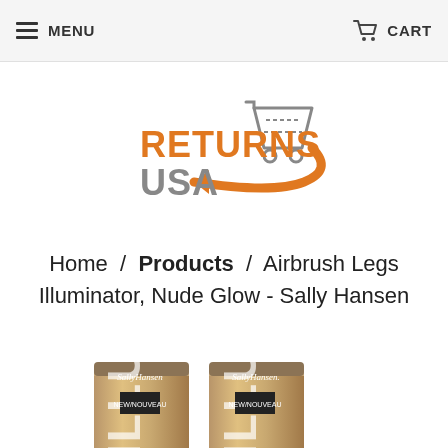MENU   CART
[Figure (logo): Returns USA logo: orange bold text 'RETURNS' and gray bold text 'USA' with orange shopping cart icon and orange curved arrow pointing left]
Home / Products / Airbrush Legs Illuminator, Nude Glow - Sally Hansen
[Figure (photo): Two Sally Hansen Airbrush Legs Illuminator product tubes in gold/bronze color showing 'ILLUM' text vertically and 'NEW/NOUVEAU' label, partially cropped at bottom of page]